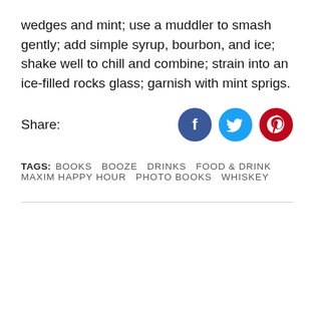wedges and mint; use a muddler to smash gently; add simple syrup, bourbon, and ice; shake well to chill and combine; strain into an ice-filled rocks glass; garnish with mint sprigs.
[Figure (infographic): Share row with label 'Share:' on the left and three social media icon buttons on the right: Facebook (dark blue circle with 'f'), Twitter (light blue circle with bird icon), Pinterest (dark red circle with 'p' icon)]
TAGS: BOOKS  BOOZE  DRINKS  FOOD & DRINK  MAXIM HAPPY HOUR  PHOTO BOOKS  WHISKEY